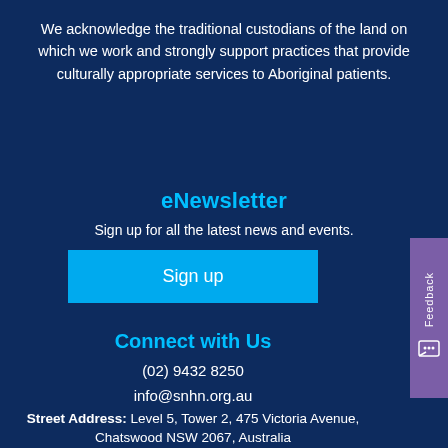We acknowledge the traditional custodians of the land on which we work and strongly support practices that provide culturally appropriate services to Aboriginal patients.
eNewsletter
Sign up for all the latest news and events.
Sign up
Connect with Us
(02) 9432 8250
info@snhn.org.au
Street Address: Level 5, Tower 2, 475 Victoria Avenue, Chatswood NSW 2067, Australia
Mail: PO BOX 1083 Chatswood NSW 2057